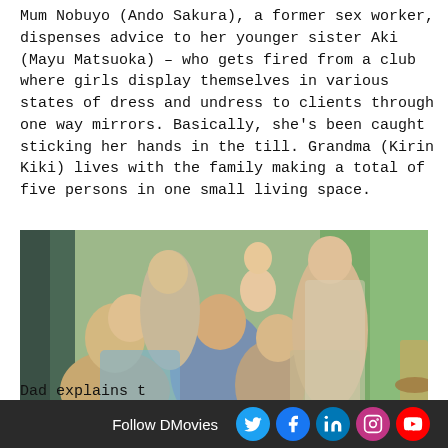Mum Nobuyo (Ando Sakura), a former sex worker, dispenses advice to her younger sister Aki (Mayu Matsuoka) – who gets fired from a club where girls display themselves in various states of dress and undress to clients through one way mirrors. Basically, she's been caught sticking her hands in the till. Grandma (Kirin Kiki) lives with the family making a total of five persons in one small living space.
[Figure (photo): Group photo of a Japanese family — six people including an elderly woman, a middle-aged man laughing, a woman resting head on hand smiling, a teenage girl, a young child, and a young woman standing — posed together outdoors near plants and a bicycle.]
Dad explains t
Follow DMovies  [Twitter] [Facebook] [LinkedIn] [Instagram] [YouTube]